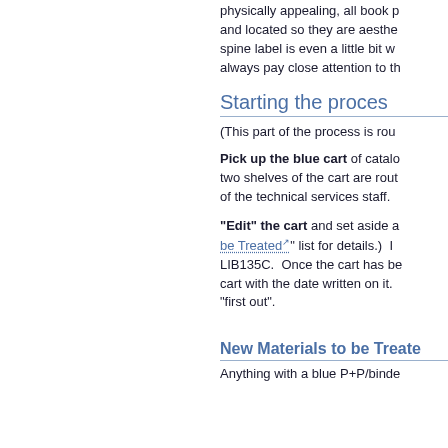physically appealing, all book p... and located so they are aesthe... spine label is even a little bit w... always pay close attention to th...
Starting the proces...
(This part of the process is rou...
Pick up the blue cart of catalo... two shelves of the cart are rout... of the technical services staff.
"Edit" the cart and set aside a... be Treated" list for details.) ... LIB135C. Once the cart has be... cart with the date written on it. ... "first out".
New Materials to be Treate...
Anything with a blue P+P/binde...